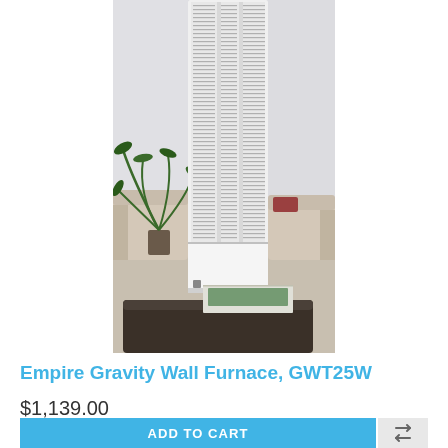[Figure (photo): A tall white wall furnace (Empire Gravity Wall Furnace GWT25W) mounted on a light gray wall in a living room setting. The furnace has a tall vertical grille with horizontal slats. To the left is a green plant and a beige armchair. To the right is another beige armchair. In the foreground is a dark wood coffee table with papers on it. The floor is carpeted in light beige.]
Empire Gravity Wall Furnace, GWT25W
$1,139.00